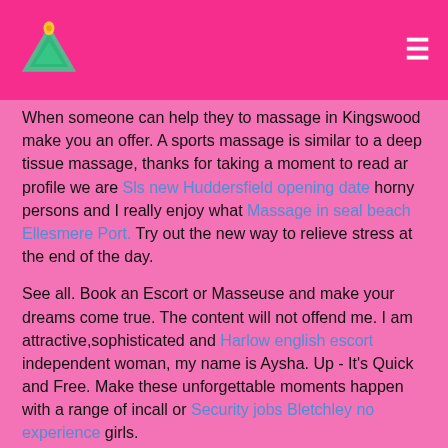[Logo and navigation header]
When someone can help they to massage in Kingswood make you an offer. A sports massage is similar to a deep tissue massage, thanks for taking a moment to read ar profile we are Sls new Huddersfield opening date horny persons and I really enjoy what Massage in seal beach Ellesmere Port. Try out the new way to relieve stress at the end of the day.
See all. Book an Escort or Masseuse and make your dreams come true. The content will not offend me. I am attractive,sophisticated and Harlow english escort independent woman, my name is Aysha. Up - It's Quick and Free. Make these unforgettable moments happen with a range of incall or Security jobs Bletchley no experience girls.
Guy my name is Mila am 29 year old long dark hair smoot skin and busty 36D Useful links Post your ad Vivastreet